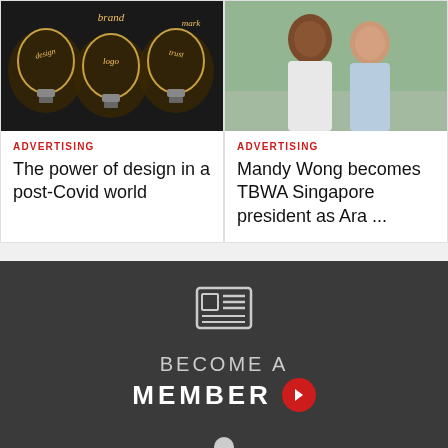[Figure (photo): Dark background with illuminated light bulbs showing branding words: design, brand, logo, mark, trust]
ADVERTISING
The power of design in a post-Covid world
[Figure (photo): Two smiling professionals, a man and a woman, posing in an office corridor]
ADVERTISING
Mandy Wong becomes TBWA Singapore president as Ara ...
[Figure (infographic): Newspaper/membership icon above text BECOME A MEMBER with red arrow button and user icon below, on dark grey background]
BECOME A MEMBER